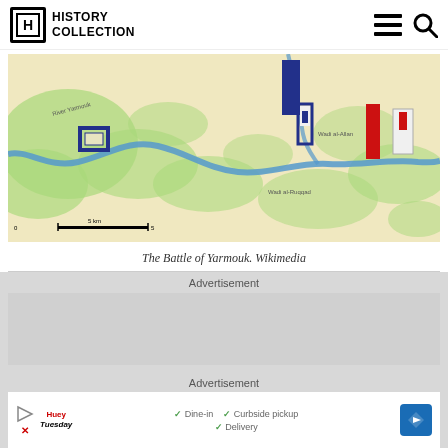HISTORY COLLECTION
[Figure (map): Battle of Yarmouk map showing troop positions with blue and red military unit markers along a river valley with green terrain features on a tan/beige background.]
The Battle of Yarmouk. Wikimedia
Advertisement
Advertisement